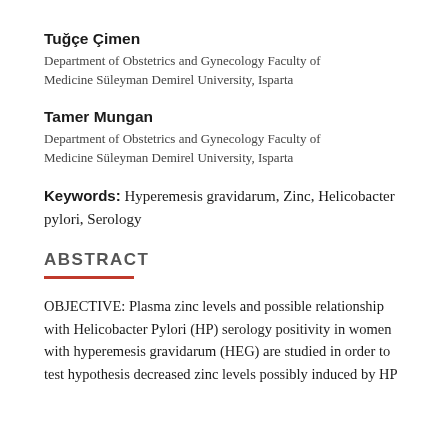Tuğçe Çimen
Department of Obstetrics and Gynecology Faculty of Medicine Süleyman Demirel University, Isparta
Tamer Mungan
Department of Obstetrics and Gynecology Faculty of Medicine Süleyman Demirel University, Isparta
Keywords: Hyperemesis gravidarum, Zinc, Helicobacter pylori, Serology
ABSTRACT
OBJECTIVE: Plasma zinc levels and possible relationship with Helicobacter Pylori (HP) serology positivity in women with hyperemesis gravidarum (HEG) are studied in order to test hypothesis decreased zinc levels possibly induced by HP